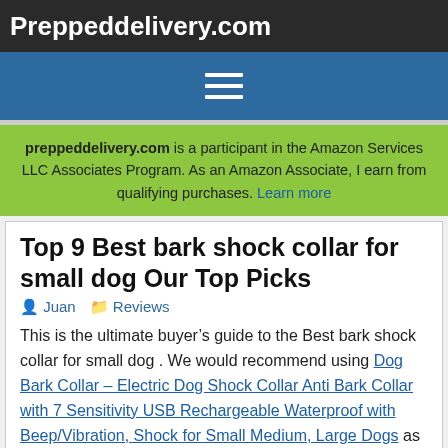Preppeddelivery.com
[Figure (other): Navigation hamburger menu icon (three white horizontal lines) on blue background]
preppeddelivery.com is a participant in the Amazon Services LLC Associates Program. As an Amazon Associate, I earn from qualifying purchases. Learn more
Top 9 Best bark shock collar for small dog Our Top Picks
Juan   Reviews
This is the ultimate buyer’s guide to the Best bark shock collar for small dog . We would recommend using Dog Bark Collar – Electric Dog Shock Collar Anti Bark Collar with 7 Sensitivity USB Rechargeable Waterproof with Beep/Vibration, Shock for Small Medium, Large Dogs as it is one of the best products currently available in the market